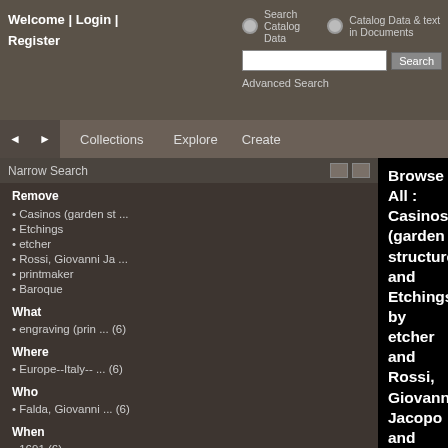Welcome | Login | Register
Search Catalog Data   Catalog Data & text in Documents
Advanced Search
Collections   Explore   Create
Narrow Search
Remove
Casinos (garden st ...
Etchings
etcher
Rossi, Giovanni Ja ...
printmaker
Baroque
What
engraving (prin ... (6)
Where
Europe--Italy-- ... (6)
Who
Falda, Giovanni ... (6)
When
1691 (6)
Browse All : Casinos (garden structures) and Etchings by etcher and Rossi, Giovanni Jacopo and printmaker from Baroque
1-6 of 6
[Figure (illustration): Blue document/file icon placeholder on black background]
"View of the garden of his m